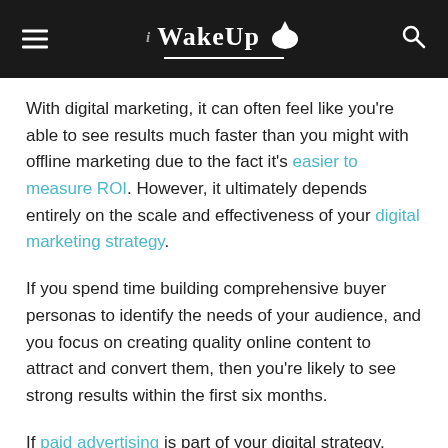WakeUp
With digital marketing, it can often feel like you're able to see results much faster than you might with offline marketing due to the fact it's easier to measure ROI. However, it ultimately depends entirely on the scale and effectiveness of your digital marketing strategy.
If you spend time building comprehensive buyer personas to identify the needs of your audience, and you focus on creating quality online content to attract and convert them, then you're likely to see strong results within the first six months.
If paid advertising is part of your digital strategy, then the results come even quicker — but it's recommended to foo